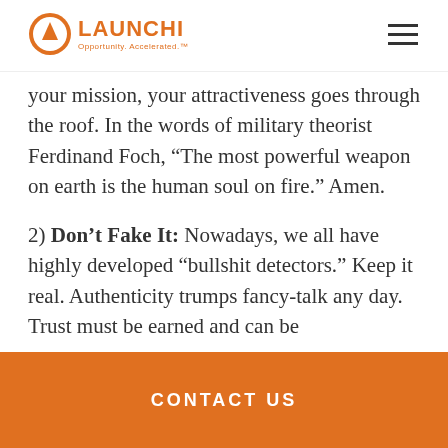LAUNCHI Opportunity. Accelerated.™
your mission, your attractiveness goes through the roof. In the words of military theorist Ferdinand Foch, “The most powerful weapon on earth is the human soul on fire.” Amen.
2) Don’t Fake It: Nowadays, we all have highly developed “bullshit detectors.” Keep it real. Authenticity trumps fancy-talk any day. Trust must be earned and can be
CONTACT US